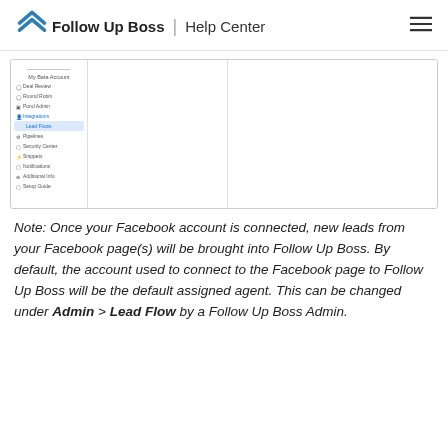Follow Up Boss | Help Center
[Figure (screenshot): Screenshot of Follow Up Boss settings sidebar showing menu items including Integrations with Lead Flows highlighted, Pipelines, Security Center, Snippets, Notifications, Additional Info, Setup Guide]
Note: Once your Facebook account is connected, new leads from your Facebook page(s) will be brought into Follow Up Boss. By default, the account used to connect to the Facebook page to Follow Up Boss will be the default assigned agent. This can be changed under Admin > Lead Flow by a Follow Up Boss Admin.